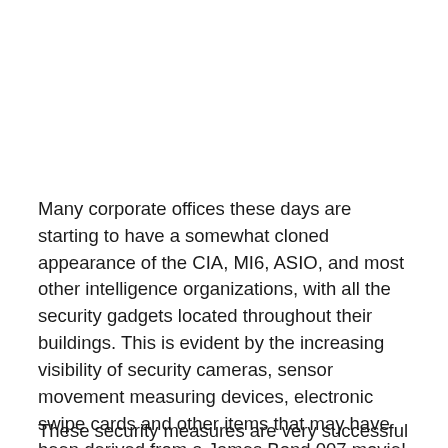Many corporate offices these days are starting to have a somewhat cloned appearance of the CIA, MI6, ASIO, and most other intelligence organizations, with all the security gadgets located throughout their buildings. This is evident by the increasing visibility of security cameras, sensor movement measuring devices, electronic swipe cards and other items that may have been derived from a James Bond 007 movie!
These security measures are very successful at keeping